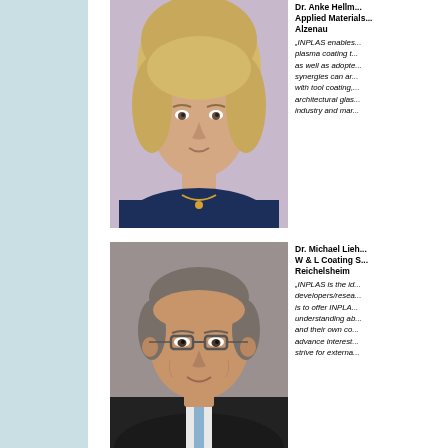[Figure (photo): Portrait photo of a woman with short blonde hair wearing a dark navy top and gold necklace, seated in front of a purple/lavender background]
Dr. Anke Hellm... Applied Materials... Alzenau
„INPLAS enables... plasma coating t... as well as adopt... synergies can ar... with tool coating,... architectural glas... industry and mar...
[Figure (photo): Portrait photo of a middle-aged man with short grey-brown hair, wearing glasses, a dark suit jacket and light blue tie, smiling]
Dr. Michael Lieh... W & L Coating S... Reichelsheim
„INPLAS is the id... developers/resea... is to offer INPLA... understanding ab... and their own co... advance interest... strive for externa...